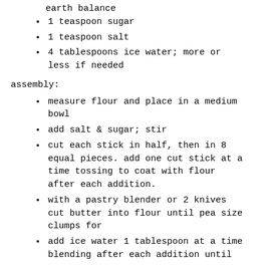earth balance
1 teaspoon sugar
1 teaspoon salt
4 tablespoons ice water; more or less if needed
assembly:
measure flour and place in a medium bowl
add salt & sugar; stir
cut each stick in half, then in 8 equal pieces. add one cut stick at a time tossing to coat with flour after each addition.
with a pastry blender or 2 knives cut butter into flour until pea size clumps for
add ice water 1 tablespoon at a time blending after each addition until